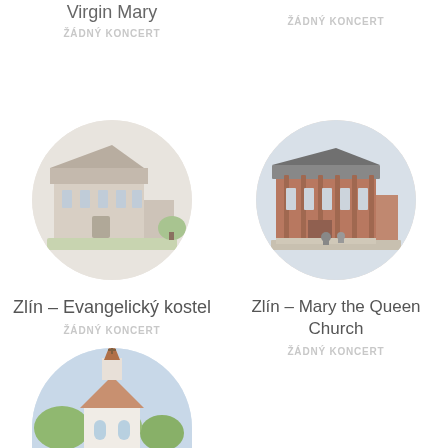Virgin Mary
ŽÁDNÝ KONCERT
ŽÁDNÝ KONCERT
[Figure (photo): Circular photo of Zlín – Evangelický kostel, a modernist church building with light facade]
Zlín – Evangelický kostel
ŽÁDNÝ KONCERT
[Figure (photo): Circular photo of Zlín – Mary the Queen Church, a brick building with distinctive architecture]
Zlín – Mary the Queen Church
ŽÁDNÝ KONCERT
[Figure (photo): Circular photo of a traditional white church with steeple, partially visible at bottom of page]